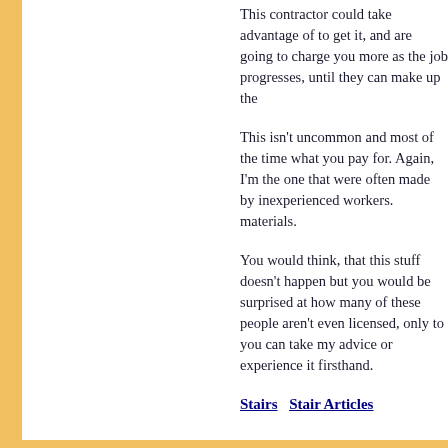This contractor could take advantage of to get it, and are going to charge you mo job progresses, until they can make up th
This isn't uncommon and most of the tim what you pay for. Again, I'm the one tha were often made by inexperienced worke materials.
You would think, that this stuff doesn't h but you would be surprised at how many these people aren't even licensed, only to can take my advice or experience it firsth
Stairs  Stair Articles